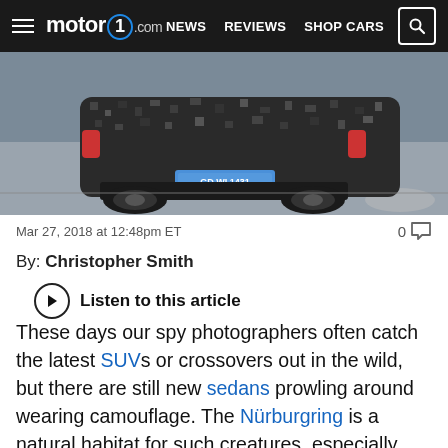motor1.com | NEWS | REVIEWS | SHOP CARS
[Figure (photo): Rear view of a camouflaged Mercedes-Benz A-Class sedan prototype on a road, license plate GD WI 1431]
Mar 27, 2018 at 12:48pm ET
0 comments
By: Christopher Smith
Listen to this article
These days our spy photographers often catch the latest SUVs or crossovers out in the wild, but there are still new sedans prowling around wearing camouflage. The Nürburgring is a natural habitat for such creatures, especially ones from Mercedes-Benz like this new A-Class sedan. We haven't seen this car out and about